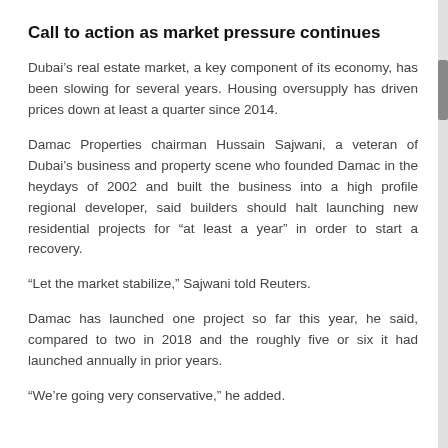Call to action as market pressure continues
Dubai's real estate market, a key component of its economy, has been slowing for several years. Housing oversupply has driven prices down at least a quarter since 2014.
Damac Properties chairman Hussain Sajwani, a veteran of Dubai's business and property scene who founded Damac in the heydays of 2002 and built the business into a high profile regional developer, said builders should halt launching new residential projects for "at least a year" in order to start a recovery.
“Let the market stabilize,” Sajwani told Reuters.
Damac has launched one project so far this year, he said, compared to two in 2018 and the roughly five or six it had launched annually in prior years.
“We’re going very conservative,” he added.